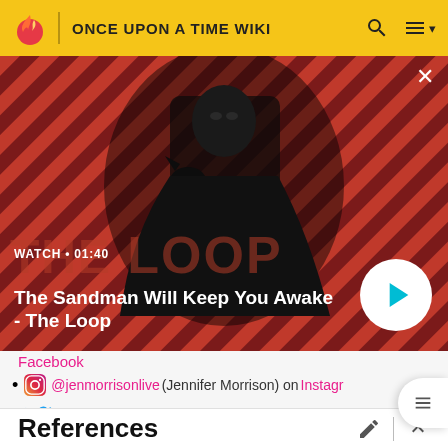ONCE UPON A TIME WIKI
[Figure (screenshot): Video thumbnail showing a dark-clothed man with a raven on his shoulder against a red-striped background. Text overlay: WATCH • 01:40 / The Sandman Will Keep You Awake - The Loop. Play button visible.]
Facebook
@jenmorrisonlive (Jennifer Morrison) on Instagram
Twitter icon bullet
References